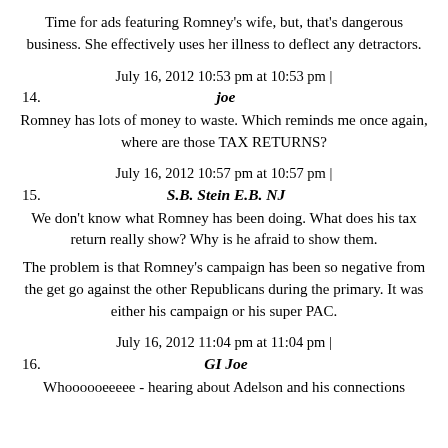Time for ads featuring Romney's wife, but, that's dangerous business. She effectively uses her illness to deflect any detractors.
July 16, 2012 10:53 pm at 10:53 pm |
14. joe
Romney has lots of money to waste. Which reminds me once again, where are those TAX RETURNS?
July 16, 2012 10:57 pm at 10:57 pm |
15. S.B. Stein E.B. NJ
We don't know what Romney has been doing. What does his tax return really show? Why is he afraid to show them.
The problem is that Romney's campaign has been so negative from the get go against the other Republicans during the primary. It was either his campaign or his super PAC.
July 16, 2012 11:04 pm at 11:04 pm |
16. GI Joe
Whoooooeeeee - hearing about Adelson and his connections